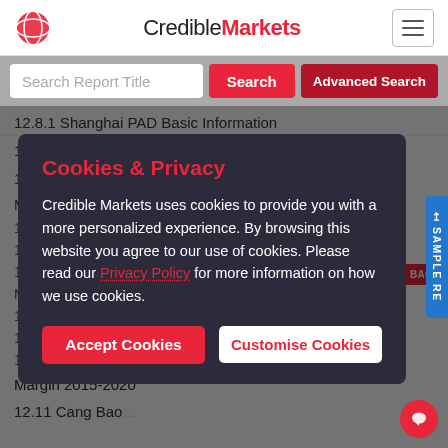CredibleMarkets
Search Report Title
12.8.1 Shanghai PAD Basic Information
12.8.2 Automatic Door Product Introduction
12.8.3 Shanghai PAD Production...
Ma...
Cookies & Privacy
Credible Markets uses cookies to provide you with a more personalized experience. By browsing this website you agree to our use of cookies. Please read our Privacy Policy for more information on how we use cookies.
Accept Cookies
Customise Cookies
Margin 2015-2020
12.11 Cang Bao...